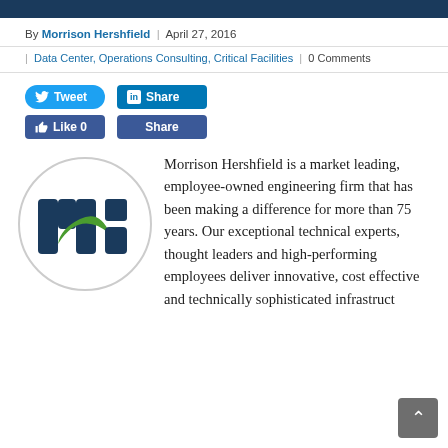By Morrison Hershfield | April 27, 2016
| Data Center, Operations Consulting, Critical Facilities | 0 Comments
[Figure (other): Social sharing buttons: Tweet (Twitter), Share (LinkedIn), Like 0 (Facebook), Share (Facebook)]
[Figure (logo): Morrison Hershfield logo - circular with navy blue and green 'mh' lettermark inside a light grey circle]
Morrison Hershfield is a market leading, employee-owned engineering firm that has been making a difference for more than 75 years. Our exceptional technical experts, thought leaders and high-performing employees deliver innovative, cost effective and technically sophisticated infrastruct...